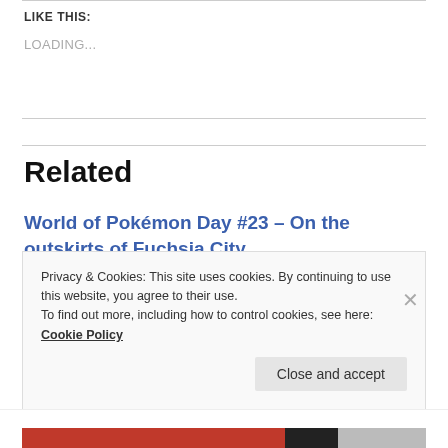LIKE THIS:
LOADING...
Related
World of Pokémon Day #23 – On the outskirts of Fuchsia City
September 22, 2015
IN "WORLD OF POKÉMON"
Privacy & Cookies: This site uses cookies. By continuing to use this website, you agree to their use.
To find out more, including how to control cookies, see here: Cookie Policy
Close and accept